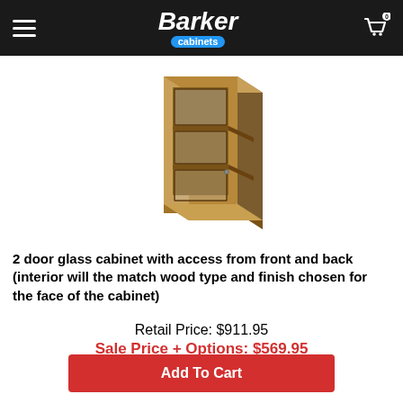Barker Cabinets
[Figure (photo): 3D rendering of a tall wall cabinet with glass doors, showing two shelves and open frame construction in a warm wood finish]
2 door glass cabinet with access from front and back (interior will the match wood type and finish chosen for the face of the cabinet)
Retail Price: $911.95
Sale Price + Options: $569.95
Add To Cart